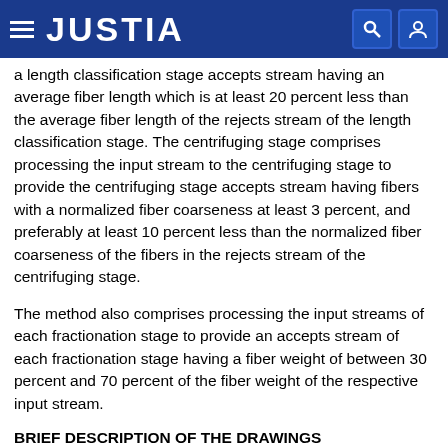JUSTIA
a length classification stage accepts stream having an average fiber length which is at least 20 percent less than the average fiber length of the rejects stream of the length classification stage. The centrifuging stage comprises processing the input stream to the centrifuging stage to provide the centrifuging stage accepts stream having fibers with a normalized fiber coarseness at least 3 percent, and preferably at least 10 percent less than the normalized fiber coarseness of the fibers in the rejects stream of the centrifuging stage.
The method also comprises processing the input streams of each fractionation stage to provide an accepts stream of each fractionation stage having a fiber weight of between 30 percent and 70 percent of the fiber weight of the respective input stream.
BRIEF DESCRIPTION OF THE DRAWINGS